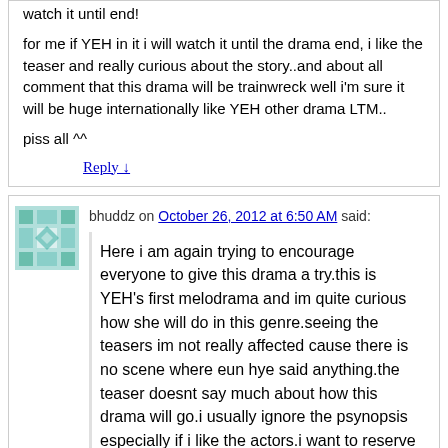watch it until end!

for me if YEH in it i will watch it until the drama end, i like the teaser and really curious about the story..and about all comment that this drama will be trainwreck well i'm sure it will be huge internationally like YEH other drama LTM..

piss all ^^

Reply ↓
bhuddz on October 26, 2012 at 6:50 AM said:
Here i am again trying to encourage everyone to give this drama a try.this is YEH's first melodrama and im quite curious how she will do in this genre.seeing the teasers im not really affected cause there is no scene where eun hye said anything.the teaser doesnt say much about how this drama will go.i usually ignore the psynopsis especially if i like the actors.i want to reserve my judgement until i see the movie not based on still pictures and teasers.Ive seen ALL YEH s work and So far eun hye never failed to capture my interest as a viewer.i always find her entertaining.so as an avid fan, i